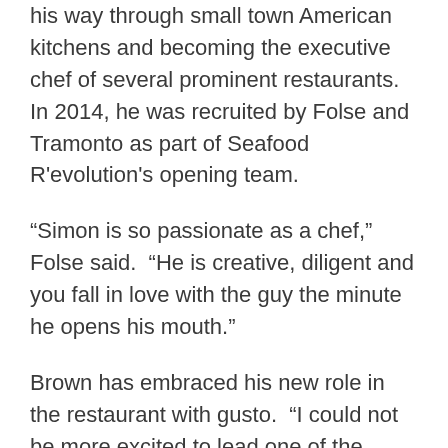his way through small town American kitchens and becoming the executive chef of several prominent restaurants. In 2014, he was recruited by Folse and Tramonto as part of Seafood R'evolution's opening team.
“Simon is so passionate as a chef,” Folse said.  “He is creative, diligent and you fall in love with the guy the minute he opens his mouth.”
Brown has embraced his new role in the restaurant with gusto.  “I could not be more excited to lead one of the finest of fine dining restaurants not only in Mississippi but in the country.  The chefs are amazing, the team is amazing, and I could not be happier that Chef Folse…